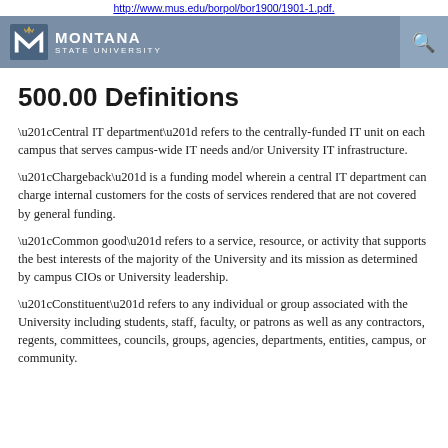http://www.mus.edu/borpol/bor1900/1901-1.pdf.
500.00 Definitions
“Central IT department” refers to the centrally-funded IT unit on each campus that serves campus-wide IT needs and/or University IT infrastructure.
“Chargeback” is a funding model wherein a central IT department can charge internal customers for the costs of services rendered that are not covered by general funding.
“Common good” refers to a service, resource, or activity that supports the best interests of the majority of the University and its mission as determined by campus CIOs or University leadership.
“Constituent” refers to any individual or group associated with the University including students, staff, faculty, or patrons as well as any contractors, regents, committees, councils, groups, agencies, departments, entities, campus, or community.